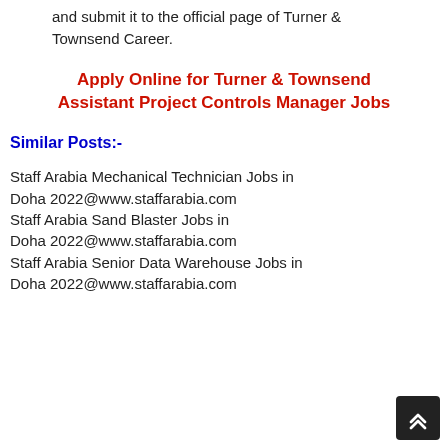and submit it to the official page of Turner & Townsend Career.
Apply Online for Turner & Townsend Assistant Project Controls Manager Jobs
Similar Posts:-
Staff Arabia Mechanical Technician Jobs in Doha 2022@www.staffarabia.com
Staff Arabia Sand Blaster Jobs in Doha 2022@www.staffarabia.com
Staff Arabia Senior Data Warehouse Jobs in Doha 2022@www.staffarabia.com